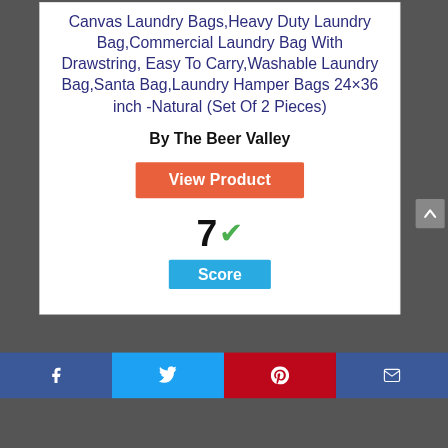Canvas Laundry Bags,Heavy Duty Laundry Bag,Commercial Laundry Bag With Drawstring, Easy To Carry,Washable Laundry Bag,Santa Bag,Laundry Hamper Bags 24×36 inch -Natural (Set Of 2 Pieces)
By The Beer Valley
[Figure (other): Orange 'View Product' button and score display showing '7' with green checkmark and blue 'Score' badge]
Facebook share | Twitter share | Pinterest share | Email share